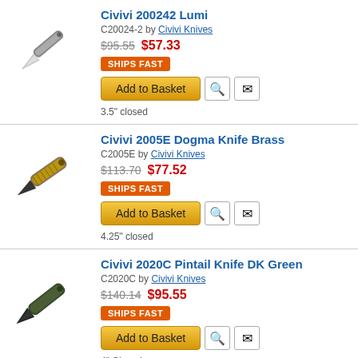[Figure (photo): Civivi 200242 Lumi folding knife, slim silver blade, gray handle]
Civivi 200242 Lumi
C20024-2 by Civivi Knives
$95.55  $57.33
SHIPS FAST
Add to Basket
3.5" closed
[Figure (photo): Civivi 2005E Dogma Knife Brass folding knife, black blade, patterned brass handle]
Civivi 2005E Dogma Knife Brass
C2005E by Civivi Knives
$113.70  $77.52
SHIPS FAST
Add to Basket
4.25" closed
[Figure (photo): Civivi 2020C Pintail Knife DK Green folding knife, black blade, dark green handle]
Civivi 2020C Pintail Knife DK Green
C2020C by Civivi Knives
$140.14  $95.55
SHIPS FAST
Add to Basket
4" Closed
[Figure (photo): Civivi 2102C Brazen Black folding knife, partial view]
Civivi 2102C Brazen Black